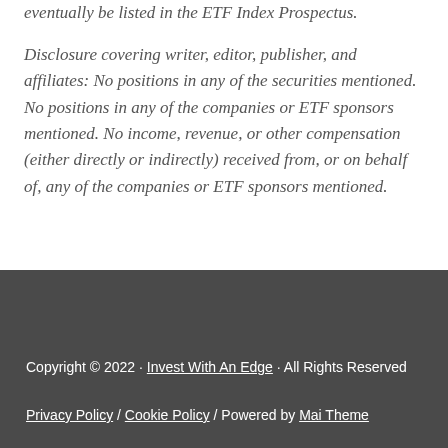eventually be listed in the ETF Index Prospectus.
Disclosure covering writer, editor, publisher, and affiliates: No positions in any of the securities mentioned. No positions in any of the companies or ETF sponsors mentioned. No income, revenue, or other compensation (either directly or indirectly) received from, or on behalf of, any of the companies or ETF sponsors mentioned.
Copyright © 2022 · Invest With An Edge · All Rights Reserved
Privacy Policy / Cookie Policy / Powered by Mai Theme